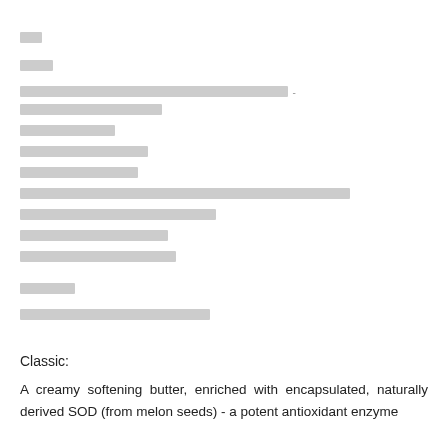██
███
████████████████████████████████████ - ████████████████████
█████████████
██████████████
█████████████
████████████████████████████████████████████████████████████████
████████████████████████
█████████████████
█████████████████
██████
████████████████████████
Classic:
A creamy softening butter, enriched with encapsulated, naturally derived SOD (from melon seeds) - a potent antioxidant enzyme